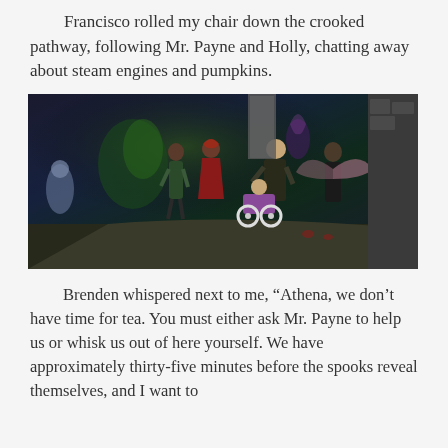Francisco rolled my chair down the crooked pathway, following Mr. Payne and Holly, chatting away about steam engines and pumpkins.
[Figure (screenshot): A video game screenshot (The Sims) showing characters walking down a pathway at night. A person in a wheelchair is being pushed by another character, following two others. There are fantasy/Halloween themed decorations, glowing lights, stone structures, and a figure with wings visible on the right side.]
Brenden whispered next to me, “Athena, we don’t have time for tea. You must either ask Mr. Payne to help us or whisk us out of here yourself. We have approximately thirty-five minutes before the spooks reveal themselves, and I want to